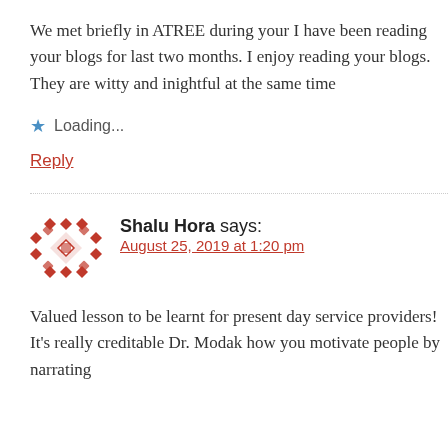We met briefly in ATREE during your I have been reading your blogs for last two months. I enjoy reading your blogs. They are witty and inightful at the same time
Loading...
Reply
Shalu Hora says:
August 25, 2019 at 1:20 pm
Valued lesson to be learnt for present day service providers! It's really creditable Dr. Modak how you motivate people by narrating